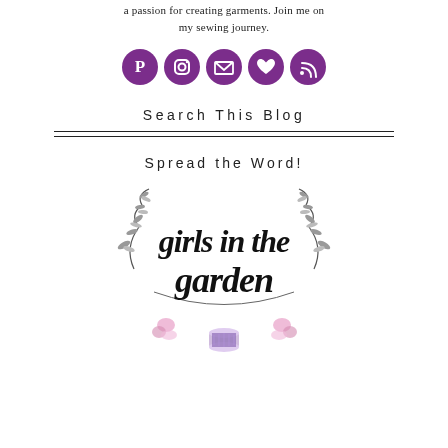a passion for creating garments. Join me on my sewing journey.
[Figure (infographic): Five purple circular social media icons in a row: Pinterest, Instagram, Email/Envelope, Heart/Bloglovin, RSS feed]
Search This Blog
[Figure (illustration): Girls in the Garden blog logo — script text 'girls in the garden' surrounded by hand-drawn floral wreath with thread spool at bottom, watercolor flowers, on white background]
Spread the Word!